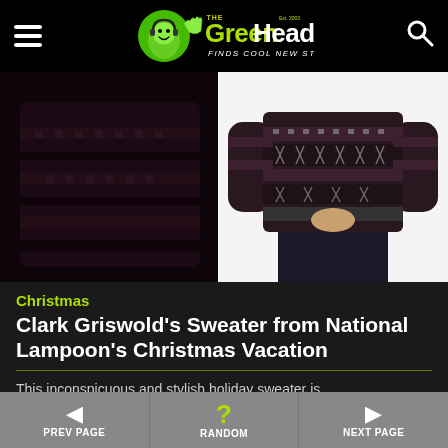The Green Head - Finds Cool New Stuff!
[Figure (photo): Left: dark movie still showing back of a patterned holiday sweater worn by Clark Griswold. Right: product photo of the same sweater on a person showing front of dark fair-isle/nordic pattern sweater with geometric designs, worn with black pants, white background.]
Christmas
Clark Griswold's Sweater from National Lampoon's Christmas Vacation
This inconspicuous and stylish holiday sweater is
PREV PAGE   RANDOM   NEXT PAGE